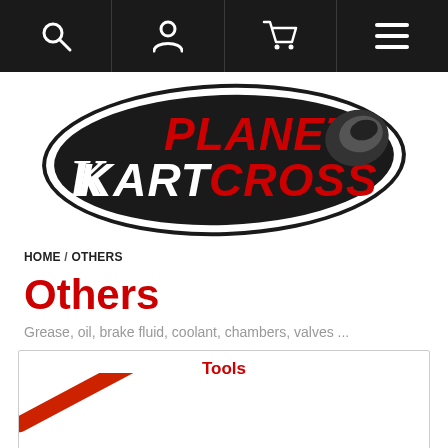Navigation bar with search, account, cart, and menu icons
[Figure (logo): Planet Kart Cross logo — stylized text with black, red, and white colors, with a racing glove graphic]
HOME / OTHERS
Others
Grease, oil, brake fluid, coolant, chambers, valves ...
Tools
[Figure (photo): Red and silver tool (appears to be a valve or bearing tool) at diagonal angle]